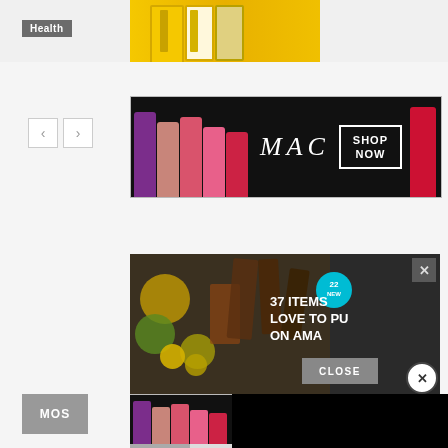[Figure (screenshot): Screenshot of a webpage with advertisements. Top area shows a 'Health' category badge with product images. A MAC cosmetics banner ad shows lipsticks with 'SHOP NOW' button. A food/Amazon-related banner shows '37 ITEMS LOVE TO PUT ON AMA' text with a badge. A black popup overlay obscures part of the content. A 'CLOSE' button is visible. Bottom shows 'MOS' label with another MAC cosmetics banner.]